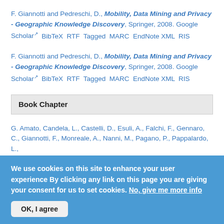F. Giannotti and Pedreschi, D., Mobility, Data Mining and Privacy - Geographic Knowledge Discovery, Springer, 2008. Google Scholar BibTeX RTF Tagged MARC EndNote XML RIS
F. Giannotti and Pedreschi, D., Mobility, Data Mining and Privacy - Geographic Knowledge Discovery, Springer, 2008. Google Scholar BibTeX RTF Tagged MARC EndNote XML RIS
Book Chapter
G. Amato, Candela, L., Castelli, D., Esuli, A., Falchi, F., Gennaro, C., Giannotti, F., Monreale, A., Nanni, M., Pagano, P., Pappalardo, L., Pedreschi, D., Pratesi, F., Rabitti, F., Rinzivillo, S., Rossetti, G.
We use cookies on this site to enhance your user experience By clicking any link on this page you are giving your consent for us to set cookies. No, give me more info